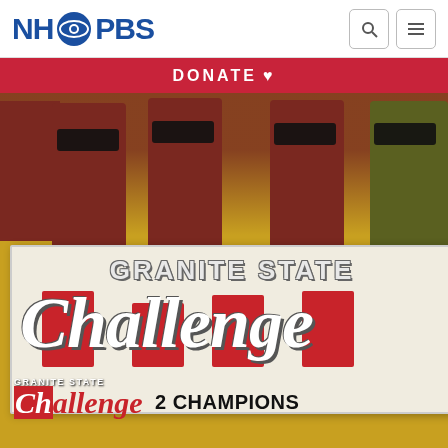NH PBS
DONATE ♥
[Figure (photo): Five students wearing dark masks and maroon shirts stand holding a large banner that reads 'GRANITE STATE Challenge 2 CHAMPIONS' with the Granite State Challenge logo overlaid in the lower left corner.]